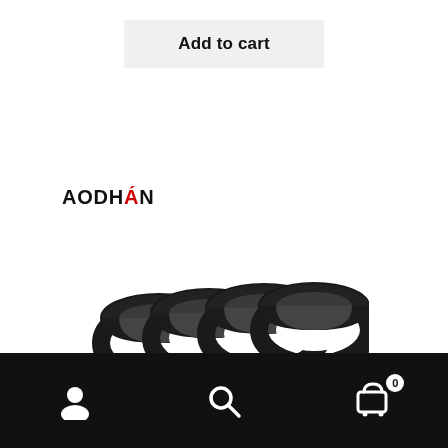Add to cart
[Figure (logo): AODHAN brand logo in bold black uppercase text with red accent mark]
[Figure (photo): Four black hub centric rings arranged side by side, overlapping slightly, shot on white background]
Navigation bar with user account icon, search icon, and shopping cart icon with badge showing 0